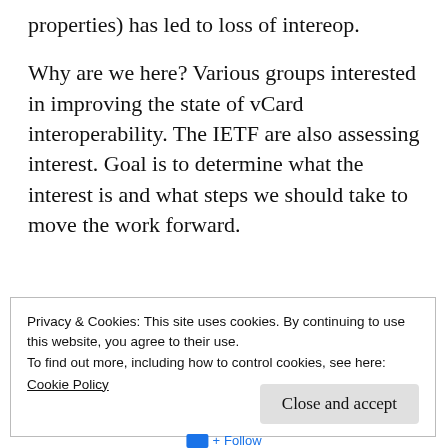properties) has led to loss of intereop.
Why are we here? Various groups interested in improving the state of vCard interoperability. The IETF are also assessing interest. Goal is to determine what the interest is and what steps we should take to move the work forward.
[Figure (other): Advertisement banner with small icon and text: 'same page is easy. And free.']
Privacy & Cookies: This site uses cookies. By continuing to use this website, you agree to their use.
To find out more, including how to control cookies, see here:
Cookie Policy
Close and accept